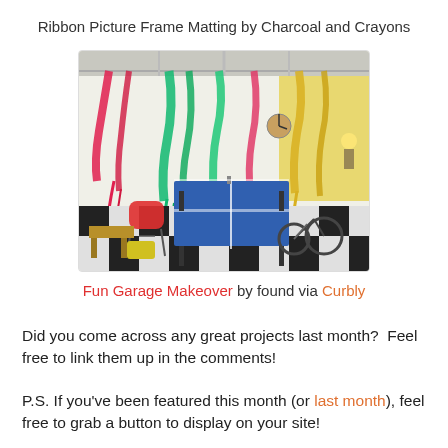Ribbon Picture Frame Matting by Charcoal and Crayons
[Figure (photo): A garage interior decorated with colorful ribbon/tinsel streamers hanging from the ceiling, a ping-pong table in the center, a butterfly chair, a bicycle, and a black-and-white checkered floor.]
Fun Garage Makeover by found via Curbly
Did you come across any great projects last month?  Feel free to link them up in the comments!
P.S. If you've been featured this month (or last month), feel free to grab a button to display on your site!